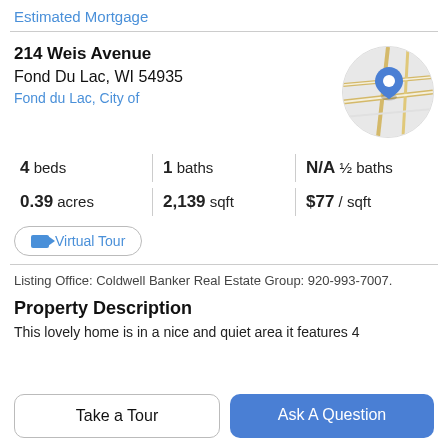Estimated Mortgage
214 Weis Avenue
Fond Du Lac, WI 54935
Fond du Lac, City of
[Figure (map): Circular map thumbnail showing a street map with a blue location pin marker]
4 beds | 1 baths | N/A ½ baths
0.39 acres | 2,139 sqft | $77 / sqft
Virtual Tour
Listing Office: Coldwell Banker Real Estate Group: 920-993-7007.
Property Description
This lovely home is in a nice and quiet area it features 4
Take a Tour
Ask A Question